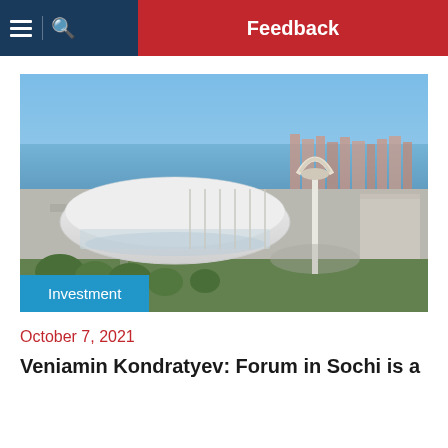Feedback
[Figure (photo): Aerial view of Sochi Olympic Park showing the Bolshoy Ice Dome arena (large white shell-shaped building) and the Olympic flame cauldron in foreground, with the Black Sea visible in the background under a clear blue sky.]
Investment
October 7, 2021
Veniamin Kondratyev: Forum in Sochi is a